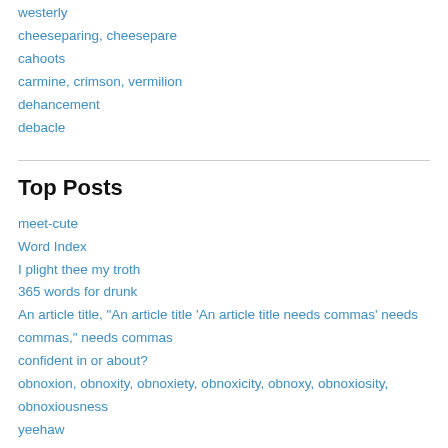westerly
cheeseparing, cheesepare
cahoots
carmine, crimson, vermilion
dehancement
debacle
Top Posts
meet-cute
Word Index
I plight thee my troth
365 words for drunk
An article title, "An article title 'An article title needs commas' needs commas," needs commas
confident in or about?
obnoxion, obnoxity, obnoxiety, obnoxicity, obnoxy, obnoxiosity, obnoxiousness
yeehaw
Pronunciation tip: Sláinte, Céad míle fáilte